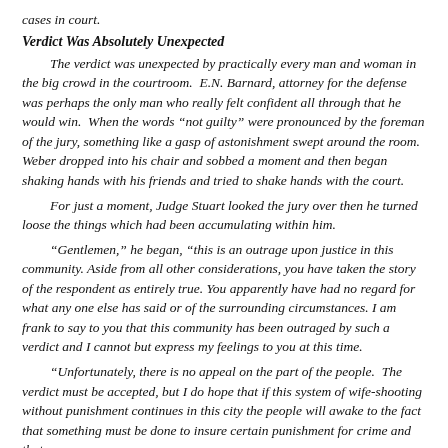cases in court.
Verdict Was Absolutely Unexpected
The verdict was unexpected by practically every man and woman in the big crowd in the courtroom.  E.N. Barnard, attorney for the defense was perhaps the only man who really felt confident all through that he would win.  When the words “not guilty” were pronounced by the foreman of the jury, something like a gasp of astonishment swept around the room. Weber dropped into his chair and sobbed a moment and then began shaking hands with his friends and tried to shake hands with the court.
For just a moment, Judge Stuart looked the jury over then he turned loose the things which had been accumulating within him.
“Gentlemen,” he began, “this is an outrage upon justice in this community. Aside from all other considerations, you have taken the story of the respondent as entirely true. You apparently have had no regard for what any one else has said or of the surrounding circumstances. I am frank to say to you that this community has been outraged by such a verdict and I cannot but express my feelings to you at this time.
“Unfortunately, there is no appeal on the part of the people.  The verdict must be accepted, but I do hope that if this system of wife-shooting without punishment continues in this city the people will awake to the fact that something must be done to insure certain punishment for crime and that